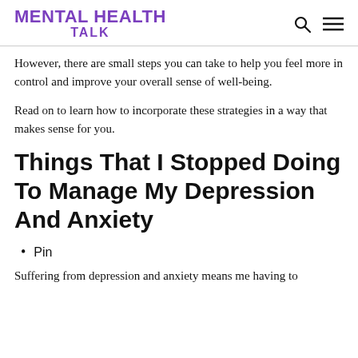MENTAL HEALTH TALK
However, there are small steps you can take to help you feel more in control and improve your overall sense of well-being.
Read on to learn how to incorporate these strategies in a way that makes sense for you.
Things That I Stopped Doing To Manage My Depression And Anxiety
Pin
Suffering from depression and anxiety means me having to